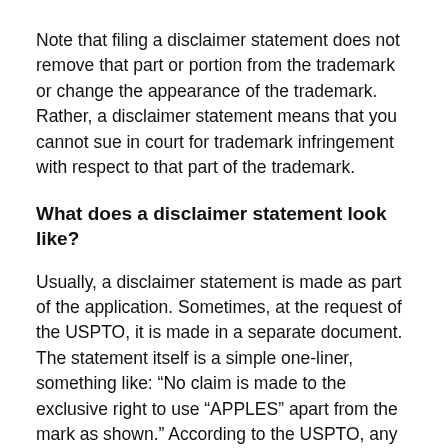Note that filing a disclaimer statement does not remove that part or portion from the trademark or change the appearance of the trademark. Rather, a disclaimer statement means that you cannot sue in court for trademark infringement with respect to that part of the trademark.
What does a disclaimer statement look like?
Usually, a disclaimer statement is made as part of the application. Sometimes, at the request of the USPTO, it is made in a separate document. The statement itself is a simple one-liner, something like: “No claim is made to the exclusive right to use “APPLES” apart from the mark as shown.” According to the USPTO, any disclaimer statement made will appear on the Certificate of Registration, along with any other